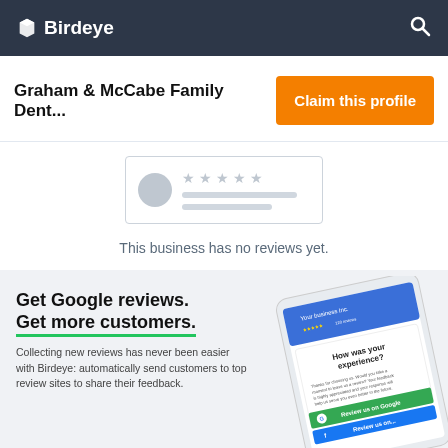Birdeye
Graham & McCabe Family Dent...
Claim this profile
[Figure (illustration): Placeholder review card with grey avatar circle, grey star icons, and grey text lines inside a dashed border rectangle]
This business has no reviews yet.
Get Google reviews.
Get more customers.
Collecting new reviews has never been easier with Birdeye: automatically send customers to top review sites to share their feedback.
[Figure (screenshot): Angled smartphone screenshot showing a review request survey reading 'How was your experience?' with Google, Facebook and other review site buttons]